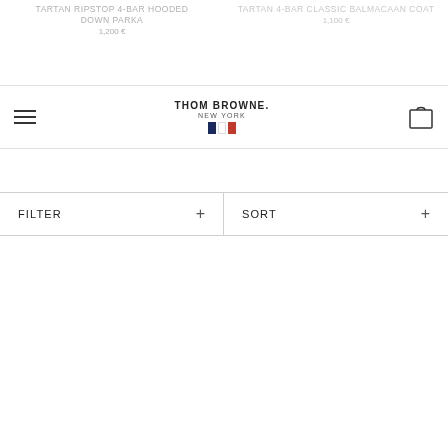TARTAN RIPSTOP 4-BAR HOODED DOWN PARKA
1,200 €
TARTAN 4-BAR CLASSIC BALMACAAN COAT
1,100 €
THOM BROWNE. NEW YORK
FILTER +   SORT +